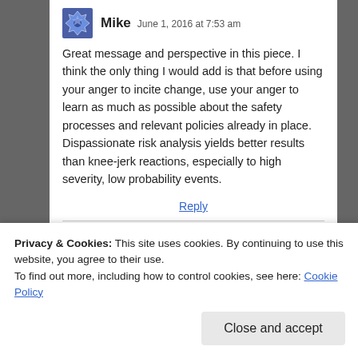Mike  June 1, 2016 at 7:53 am
Great message and perspective in this piece. I think the only thing I would add is that before using your anger to incite change, use your anger to learn as much as possible about the safety processes and relevant policies already in place. Dispassionate risk analysis yields better results than knee-jerk reactions, especially to high severity, low probability events.
Reply
Privacy & Cookies: This site uses cookies. By continuing to use this website, you agree to their use.
To find out more, including how to control cookies, see here: Cookie Policy